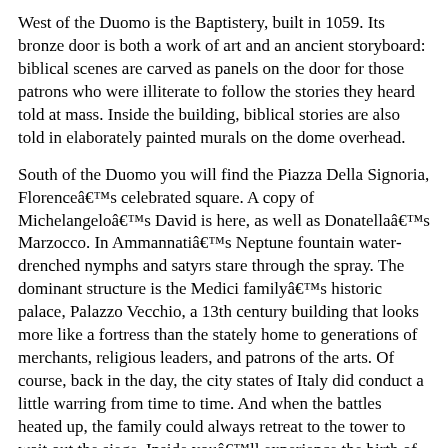West of the Duomo is the Baptistery, built in 1059. Its bronze door is both a work of art and an ancient storyboard: biblical scenes are carved as panels on the door for those patrons who were illiterate to follow the stories they heard told at mass. Inside the building, biblical stories are also told in elaborately painted murals on the dome overhead.
South of the Duomo you will find the Piazza Della Signoria, Florence’s celebrated square. A copy of Michelangelo’s David is here, as well as Donatello’s Marzocco. In Ammannati’s Neptune fountain water-drenched nymphs and satyrs stare through the spray. The dominant structure is the Medici family’s historic palace, Palazzo Vecchio, a 13th century building that looks more like a fortress than the stately home to generations of merchants, religious leaders, and patrons of the arts. Of course, back in the day, the city states of Italy did conduct a little warring from time to time. And when the battles heated up, the family could always retreat to the tower to wait out the siege. Inside you’ll experience the birth of Renaissance opulence: intricately carved columns; murals on every ceiling depicting stories from Roman mythology; paintings by Botticelli, da Vinci, and Michelangelo; and furniture fit for royal residences. Open daily, 10am-6pm.
[Figure (photo): Small thumbnail image placeholder labeled 'florence italy']
3Through the south avenue exit you enter Piazza